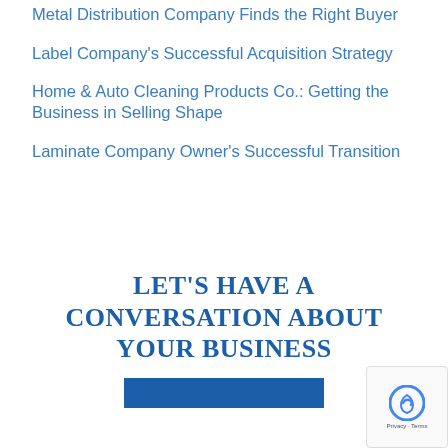Metal Distribution Company Finds the Right Buyer
Label Company's Successful Acquisition Strategy
Home & Auto Cleaning Products Co.: Getting the Business in Selling Shape
Laminate Company Owner's Successful Transition
LET'S HAVE A CONVERSATION ABOUT YOUR BUSINESS